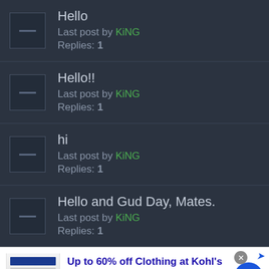Hello
Last post by KiNG
Replies: 1
Hello!!
Last post by KiNG
Replies: 1
hi
Last post by KiNG
Replies: 1
Hello and Gud Day, Mates.
Last post by KiNG
Replies: 1
[Figure (screenshot): Advertisement banner: Up to 60% off Clothing at Kohl's. Save up to 60% on clothing and homeware at Kohl's.com. kohls.com]